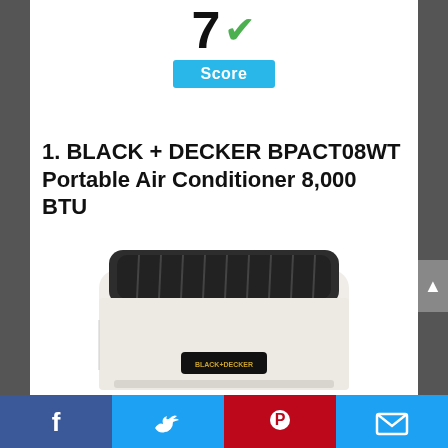[Figure (infographic): Score display showing the number 7 with a green checkmark and a cyan 'Score' badge below it]
1. BLACK + DECKER BPACT08WT Portable Air Conditioner 8,000 BTU
[Figure (photo): Photo of a white portable air conditioner unit — BLACK+DECKER BPACT08WT — showing the top front view with a dark grille]
Social sharing bar with Facebook, Twitter, Pinterest, and Email buttons